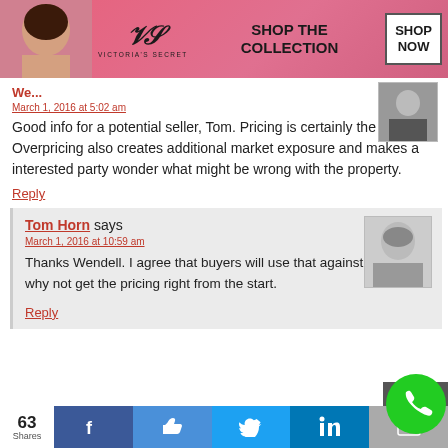[Figure (other): Victoria's Secret advertisement banner with model photo, VS logo, 'SHOP THE COLLECTION' text, and 'SHOP NOW' button]
We[ndell]
March 1, 2016 at 5:02 am
Good info for a potential seller, Tom. Pricing is certainly the key. Overpricing also creates additional market exposure and makes a interested party wonder what might be wrong with the property.
Reply
Tom Horn says
March 1, 2016 at 10:59 am
Thanks Wendell. I agree that buyers will use that against seller so why not get the pricing right from the start.
Reply
[Figure (other): Social sharing bar with 63 Shares count, Facebook, Like/thumbs-up, Twitter, LinkedIn, and email buttons]
63 Shares